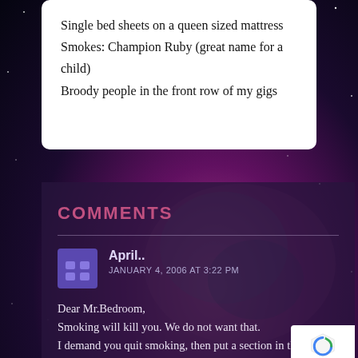Single bed sheets on a queen sized mattress
Smokes: Champion Ruby (great name for a child)
Broody people in the front row of my gigs
COMMENTS
April.. — JANUARY 4, 2006 AT 3:22 PM
Dear Mr.Bedroom,
Smoking will kill you. We do not want that.
I demand you quit smoking, then put a section in this sit with tabs and lyrics for the public.Now. Right fucking